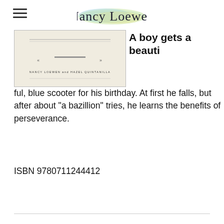Nancy Loewen
[Figure (illustration): Book cover thumbnail showing 'NANCY LOEWEN and HAZEL QUINTANILLA' author names on a beige/cream background with decorative elements]
A boy gets a beautiful, blue scooter for his birthday. At first he falls, but after about "a bazillion" tries, he learns the benefits of perseverance.
ISBN 9780711244412